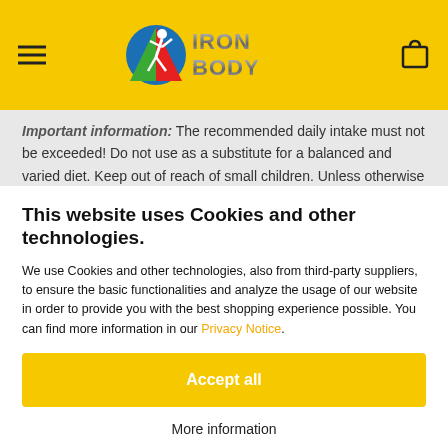[Figure (logo): IronBody logo with colored running figure and metallic text]
Important information: The recommended daily intake must not be exceeded! Do not use as a substitute for a balanced and varied diet. Keep out of reach of small children. Unless otherwise stated, use the food within 3 months after opening and store the product closed, dry, protected from light and at room temperature (15-20 degrees Celsius). The effect of creatine products becomes apparent from a daily consumption of 3g creatine. The following applies to this product: Increased
This website uses Cookies and other technologies.
We use Cookies and other technologies, also from third-party suppliers, to ensure the basic functionalities and analyze the usage of our website in order to provide you with the best shopping experience possible. You can find more information in our Privacy Notice.
Accept all
More information